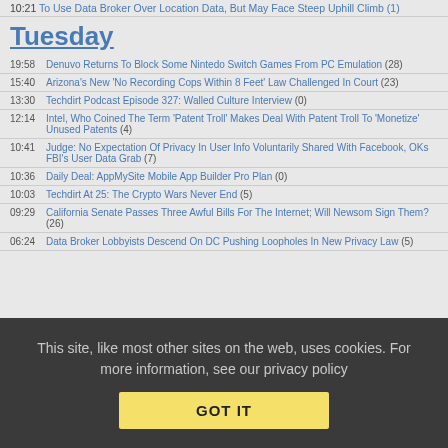10:21 To Use Data Broker Over Location Data, But May Face Steep Uphill Climb (1)
Tuesday
19:58 Denuvo Returns To Block Some Nintedo Switch Games From PC Emulation (28)
15:40 Arizona's New 'No Recording Cops Within 8 Feet' Law Challenged In Court (23)
13:30 Techdirt Podcast Episode 327: Walled Culture Interview (0)
12:14 Intel, Who Coined The Term 'Patent Troll' Makes Deal With Patent Troll To 'Monetize' Unused Patents (4)
10:41 Judge: No Expectation Of Privacy In User Info Voluntarily Shared With Facebook, OKs FBI's User Data Grab (7)
10:36 Daily Deal: AppMySite Mobile App Builder Pro Plan (0)
10:03 Techdirt At 25: The Crypto Wars Never End (5)
09:29 California Senate Passes Three Awful Bills For The Internet; Will Newsom Sign Them? (26)
06:24 Data Broker Lobbyists Descend On DC Pushing Loopholes In New Privacy Law (5)
This site, like most other sites on the web, uses cookies. For more information, see our privacy policy
GOT IT